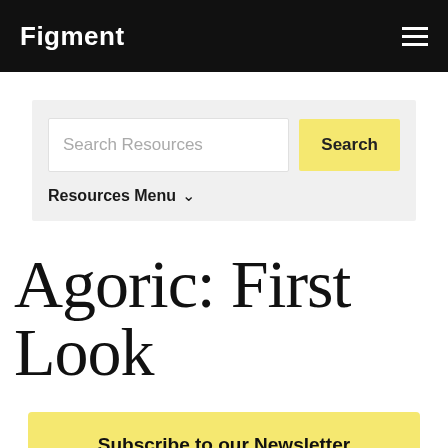Figment
Search Resources
Search
Resources Menu
Agoric: First Look
Subscribe to our Newsletter